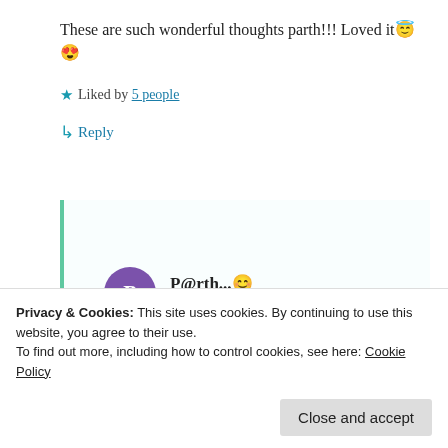These are such wonderful thoughts parth!!! Loved it😇😍
★ Liked by 5 people
↳ Reply
P@rth...😊
July 4, 2020 at 4:58 pm
↳ Reply
Privacy & Cookies: This site uses cookies. By continuing to use this website, you agree to their use.
To find out more, including how to control cookies, see here: Cookie Policy
Close and accept